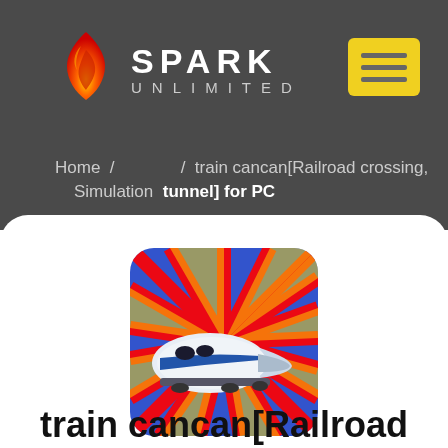[Figure (logo): Spark Unlimited logo with flame icon and menu button on dark gray header background]
Home / Simulation / train cancan[Railroad crossing, tunnel] for PC
[Figure (illustration): App icon showing a white high-speed bullet train on red and blue radial speed lines background]
train cancan[Railroad